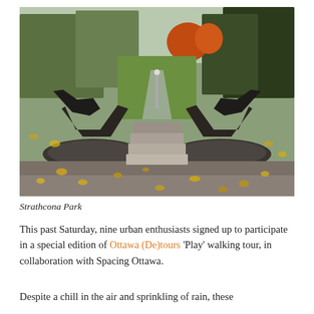[Figure (photo): Autumn park scene showing stone steps leading down through a park lined with trees displaying fall foliage in yellow, orange and green. Two large dark metal sculptural bench or gateway forms flank the top of the steps, with a tree-lined path visible in the distance. Fallen leaves scattered on a stone platform in the foreground.]
Strathcona Park
This past Saturday, nine urban enthusiasts signed up to participate in a special edition of Ottawa (De)tours 'Play' walking tour, in collaboration with Spacing Ottawa.
Despite a chill in the air and sprinkling of rain, these